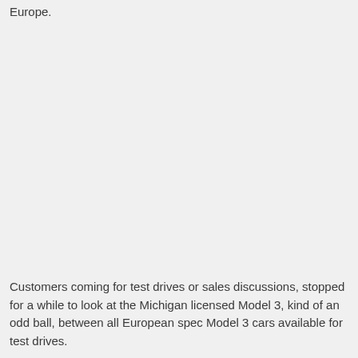Europe.
Customers coming for test drives or sales discussions, stopped for a while to look at the Michigan licensed Model 3, kind of an odd ball, between all European spec Model 3 cars available for test drives.